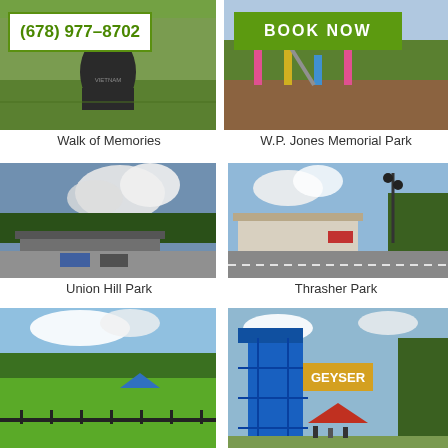[Figure (photo): Walk of Memories park photo with phone number button overlay showing (678) 977-8702]
[Figure (photo): W.P. Jones Memorial Park playground photo with green BOOK NOW button overlay]
Walk of Memories
W.P. Jones Memorial Park
[Figure (photo): Union Hill Park exterior photo showing parking lot, trees and cloudy sky]
[Figure (photo): Thrasher Park photo showing historic train depot building and railroad crossing]
Union Hill Park
Thrasher Park
[Figure (photo): Park with green lawn, trees, blue canopy, and black fence in foreground]
[Figure (photo): Geyser Towers water park attraction with blue structure and red tent]